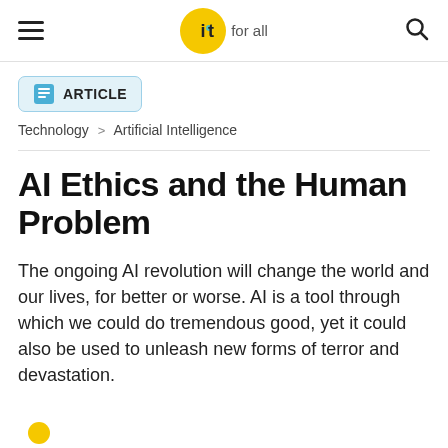IoT For All
ARTICLE
Technology > Artificial Intelligence
AI Ethics and the Human Problem
The ongoing AI revolution will change the world and our lives, for better or worse. AI is a tool through which we could do tremendous good, yet it could also be used to unleash new forms of terror and devastation.